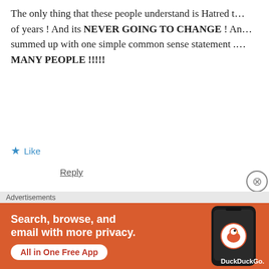The only thing that these people understand is Hatred that has been going on for hundreds of years ! And its NEVER GOING TO CHANGE ! And it can all be summed up with one simple common sense statement ... TOO MANY PEOPLE !!!!!
Like
Reply
jim says:
July 18, 2015 at 9:50 pm

When you say “these people,” what are you
Like
Advertisements
[Figure (infographic): DuckDuckGo advertisement banner with orange background. Text reads: Search, browse, and email with more privacy. All in One Free App. Shows a dark smartphone with the DuckDuckGo duck logo. DuckDuckGo. brand name at bottom right.]